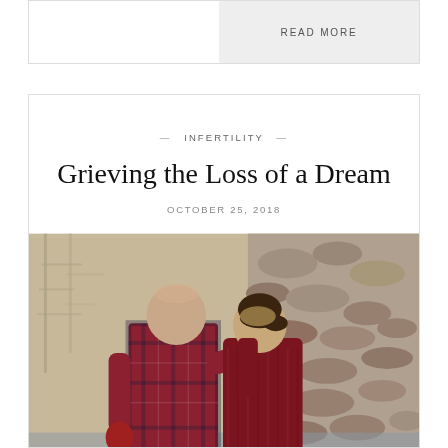READ MORE
— INFERTILITY —
Grieving the Loss of a Dream
OCTOBER 25, 2018
[Figure (photo): A couple seen from behind, arms around each other, wearing red plaid and burgundy sweaters, standing outdoors near rocks and bare trees.]